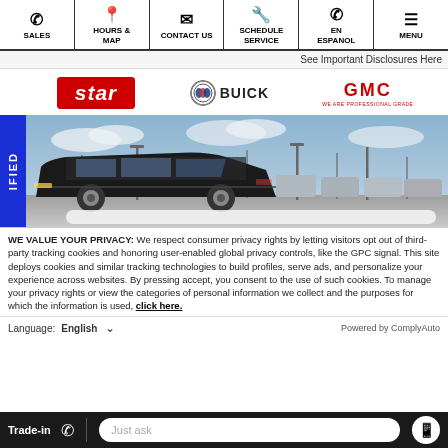SALES | HOURS & MAP | CONTACT US | SCHEDULE SERVICE | EN ESPANOL | MENU
See Important Disclosures Here
[Figure (logo): Star Buick GMC dealership logos: Star logo in red italic text with star, Buick logo with emblem, GMC logo in red with 'WE ARE PROFESSIONAL GRADE']
[Figure (photo): Dark SUV vehicle parked in dealership lot with more vehicles and light poles in background, with blue 'IFIED' tab on left side]
WE VALUE YOUR PRIVACY: We respect consumer privacy rights by letting visitors opt out of third-party tracking cookies and honoring user-enabled global privacy controls, like the GPC signal. This site deploys cookies and similar tracking technologies to build profiles, serve ads, and personalize your experience across websites. By pressing accept, you consent to the use of such cookies. To manage your privacy rights or view the categories of personal information we collect and the purposes for which the information is used, click here.
Language: English ∨  Powered by ComplyAuto
Trade-in  Just ask